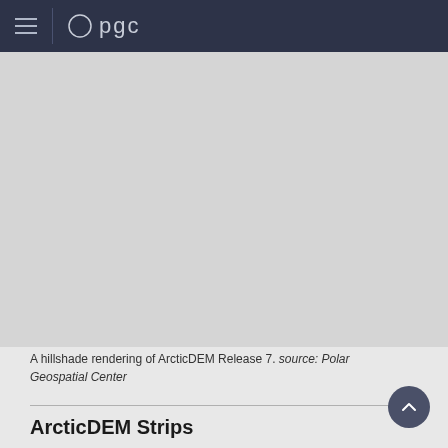pgc
[Figure (photo): A hillshade rendering of ArcticDEM Release 7 — a large gray-scale terrain map image filling the upper portion of the page]
A hillshade rendering of ArcticDEM Release 7. source: Polar Geospatial Center
ArcticDEM Strips